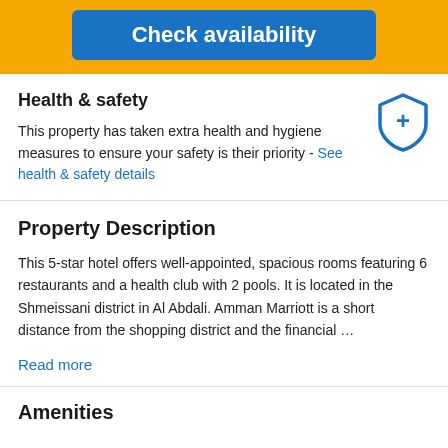[Figure (screenshot): Blue 'Check availability' button on orange/yellow background]
Health & safety
This property has taken extra health and hygiene measures to ensure your safety is their priority - See health & safety details
Property Description
This 5-star hotel offers well-appointed, spacious rooms featuring 6 restaurants and a health club with 2 pools. It is located in the Shmeissani district in Al Abdali. Amman Marriott is a short distance from the shopping district and the financial …
Read more
Amenities